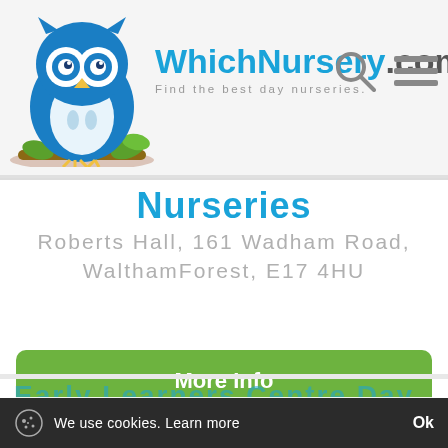[Figure (logo): WhichNursery.com logo with owl mascot and tagline 'Find the best day nurseries.']
Nurseries
Roberts Hall, 161 Wadham Road, WalthamForest, E17 4HU
More Info
Early Learners Centre Day...
Filter nurseries by:
We use cookies. Learn more  Ok